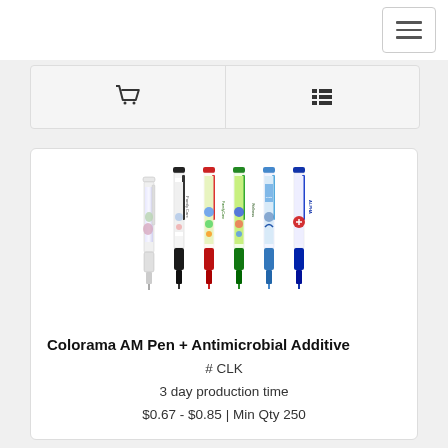[Figure (screenshot): Hamburger menu button (three horizontal lines) in top-right corner]
[Figure (screenshot): Toolbar with shopping cart icon and list/grid view toggle icons]
[Figure (photo): Six promotional pens with custom printed labels: white/clear, black, red, green, light blue, and dark blue colored pens with various branding wraps]
Colorama AM Pen + Antimicrobial Additive
# CLK
3 day production time
$0.67 - $0.85 | Min Qty 250